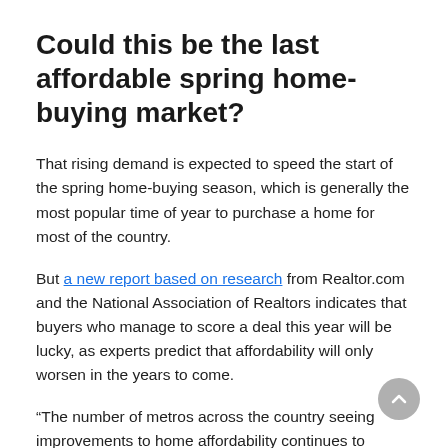Could this be the last affordable spring home-buying market?
That rising demand is expected to speed the start of the spring home-buying season, which is generally the most popular time of year to purchase a home for most of the country.
But a new report based on research from Realtor.com and the National Association of Realtors indicates that buyers who manage to score a deal this year will be lucky, as experts predict that affordability will only worsen in the years to come.
“The number of metros across the country seeing improvements to home affordability continues to